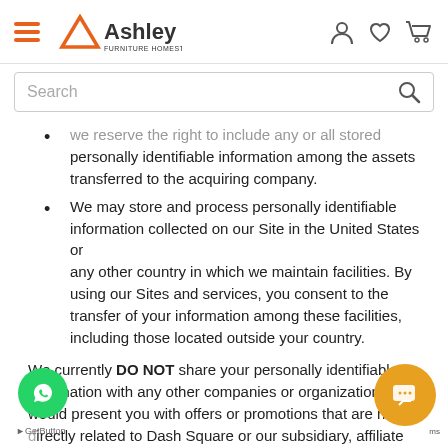Ashley Furniture HomeStore - Navigation header with hamburger menu, logo, and icons (account, wishlist, cart)
[Figure (screenshot): Search bar with placeholder text 'Search' and a magnifying glass icon]
we reserve the right to include any or all stored personally identifiable information among the assets transferred to the acquiring company.
We may store and process personally identifiable information collected on our Site in the United States or any other country in which we maintain facilities. By using our Sites and services, you consent to the transfer of your information among these facilities, including those located outside your country.
We currently DO NOT share your personally identifiable information with any other companies or organizations that would present you with offers or promotions that are not directly related to Dash Square or our subsidiary, affiliate or parent companies, or one of the independently owned and operated Dash Square retail furniture stores.